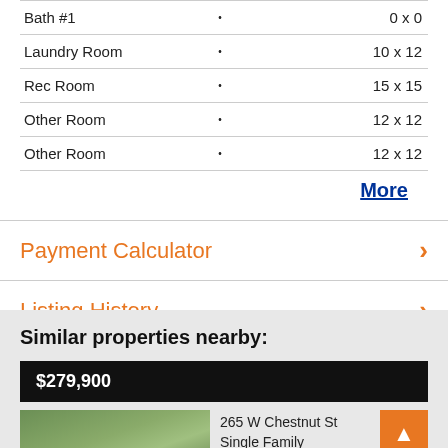| Room |  | Size |
| --- | --- | --- |
| Bath #1 | • | 0 x 0 |
| Laundry Room | • | 10 x 12 |
| Rec Room | • | 15 x 15 |
| Other Room | • | 12 x 12 |
| Other Room | • | 12 x 12 |
More
Payment Calculator
Listing History
Similar properties nearby:
$279,900
265 W Chestnut St
Single Family Residential